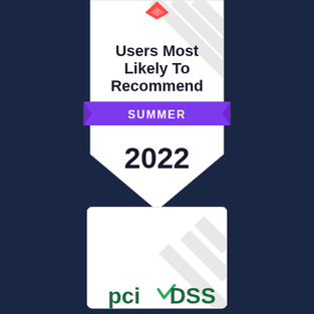[Figure (logo): G2 badge: Users Most Likely To Recommend, Summer 2022 award badge in shield/pentagon shape with white background, purple SUMMER band, and red G2 logo at top]
[Figure (logo): PCI DSS compliance badge/logo in white rounded rectangle on dark navy background]